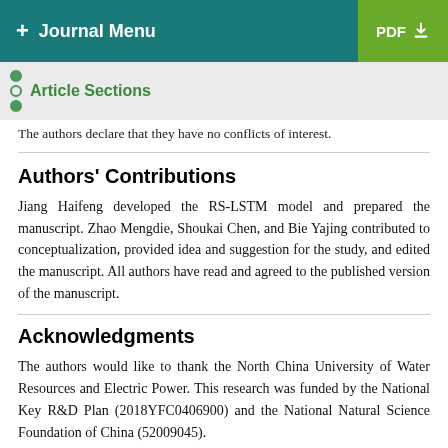+ Journal Menu  PDF ↓
Article Sections
The authors declare that they have no conflicts of interest.
Authors' Contributions
Jiang Haifeng developed the RS-LSTM model and prepared the manuscript. Zhao Mengdie, Shoukai Chen, and Bie Yajing contributed to conceptualization, provided idea and suggestion for the study, and edited the manuscript. All authors have read and agreed to the published version of the manuscript.
Acknowledgments
The authors would like to thank the North China University of Water Resources and Electric Power. This research was funded by the National Key R&D Plan (2018YFC0406900) and the National Natural Science Foundation of China (52009045).